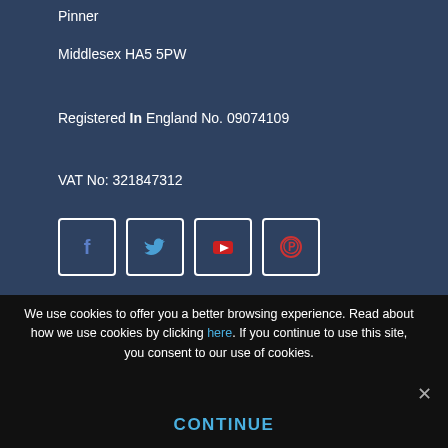Pinner
Middlesex HA5 5PW
Registered In England No. 09074109
VAT No: 321847312
[Figure (other): Row of four social media icon buttons with white borders on dark background: Facebook (f), Twitter (bird), YouTube (play button), Pinterest (p circle)]
We use cookies to offer you a better browsing experience. Read about how we use cookies by clicking here. If you continue to use this site, you consent to our use of cookies.
CONTINUE